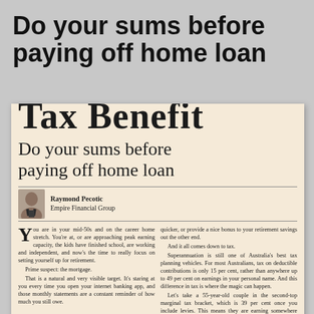Do your sums before paying off home loan
[Figure (photo): Newspaper clipping from 'Tax Benefit' section with article titled 'Do your sums before paying off home loan' by Raymond Pecotic, Empire Financial Group. Article discusses superannuation vs mortgage repayment strategy for people in their mid-50s.]
Do your sums before paying off home loan
Raymond Pecotic
Empire Financial Group
You are in your mid-50s and on the career home stretch. You're at, or are approaching peak earning capacity, the kids have finished school, are working and independent, and now's the time to really focus on setting yourself up for retirement.
  Prime suspect: the mortgage.
  That is a natural and very visible target. It's staring at you every time you open your internet banking app, and those monthly statements are a constant reminder of how much you still owe.
quicker, or provide a nice bonus to your retirement savings out the other end.
  And it all comes down to tax.
  Superannuation is still one of Australia's best tax planning vehicles. For most Australians, tax on deductible contributions is only 15 per cent, rather than anywhere up to 49 per cent on earnings in your personal name. And this difference in tax is where the magic can happen.
  Let's take a 55-year-old couple in the second-top marginal tax bracket, which is 39 per cent once you include levies. This means they are earning somewhere between $80,000 and $180,000 per annum.